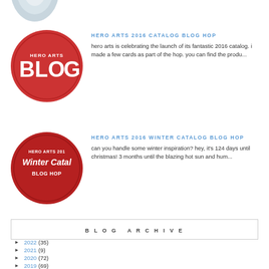[Figure (logo): Partial circle image at top, grey/white tones]
HERO ARTS 2016 CATALOG BLOG HOP
hero arts is celebrating the launch of its fantastic 2016 catalog.  i made a few cards as part of the hop.   you can find the produ...
[Figure (logo): Red circle with Hero Arts Blog logo]
HERO ARTS 2016 WINTER CATALOG BLOG HOP
can you handle some winter inspiration? hey, it's 124 days until christmas! 3 months until the blazing hot sun and hum...
[Figure (logo): Dark red circle with Hero Arts 2016 Winter Catalog Blog Hop logo]
BLOG ARCHIVE
► 2022 (35)
► 2021 (9)
► 2020 (72)
► 2019 (69)
► 2018 (62)